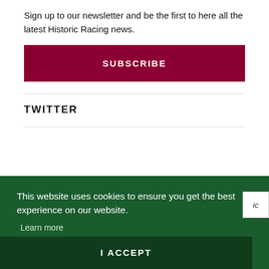Sign up to our newsletter and be the first to here all the latest Historic Racing news.
SUBSCRIBE
TWITTER
This website uses cookies to ensure you get the best experience on our website. Learn more
I ACCEPT